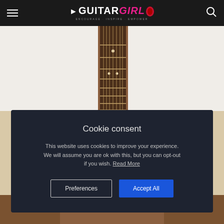Guitar Girl Magazine — ENCOURAGE. INSPIRE. EMPOWER.
[Figure (photo): Guitar neck/fretboard photographed from above against white background, with visible fret markers and rosewood fingerboard]
Cookie consent
This website uses cookies to improve your experience. We will assume you are ok with this, but you can opt-out if you wish. Read More
Preferences
Accept All